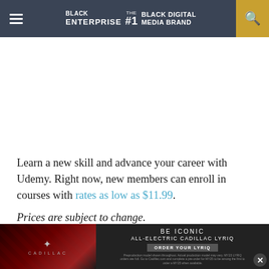Black Enterprise — The #1 Black Digital Media Brand
Learn a new skill and advance your career with Udemy. Right now, new members can enroll in courses with rates as low as $11.99.
Prices are subject to change.
[Figure (photo): Cadillac LYRIQ advertisement banner at the bottom of the page. Shows the electric Cadillac LYRIQ car with text 'BE ICONIC ALL-ELECTRIC CADILLAC LYRIQ ORDER YOUR LYRIQ' and fine print about pre-orders.]